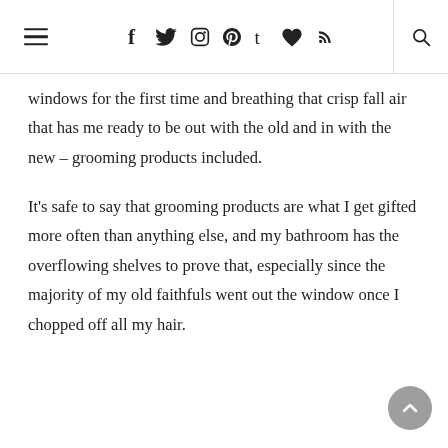≡  f  twitter  instagram  pinterest  t  ♥  rss  🔍
windows for the first time and breathing that crisp fall air that has me ready to be out with the old and in with the new – grooming products included.
It's safe to say that grooming products are what I get gifted more often than anything else, and my bathroom has the overflowing shelves to prove that, especially since the majority of my old faithfuls went out the window once I chopped off all my hair.